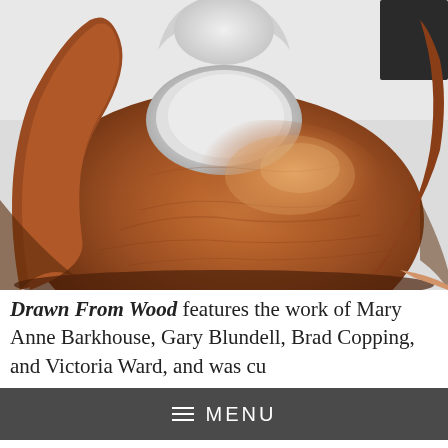[Figure (photo): Close-up photograph of a polished wooden sculpture with smooth curved forms, warm brown tones, showing wood grain texture and a reflective surface. The sculpture has organic biomorphic curves with a hole/opening visible.]
Drawn From Wood features the work of Mary Anne Barkhouse, Gary Blundell, Brad Copping, and Victoria Ward, and was cu
[Figure (other): Mobile navigation menu bar overlay with hamburger icon and MENU text on dark grey background]
All four mid-career artists in this exhibition live in